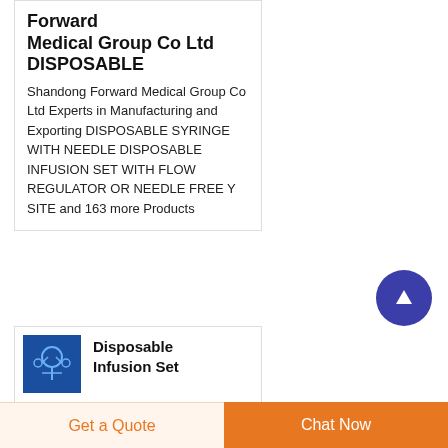Forward Medical Group Co Ltd DISPOSABLE
Shandong Forward Medical Group Co Ltd Experts in Manufacturing and Exporting DISPOSABLE SYRINGE WITH NEEDLE DISPOSABLE INFUSION SET WITH FLOW REGULATOR OR NEEDLE FREE Y SITE and 163 more Products
[Figure (photo): Disposable infusion set product thumbnail image on blue background]
Disposable Infusion Set
Disposable Infusion
Get a Quote
Chat Now